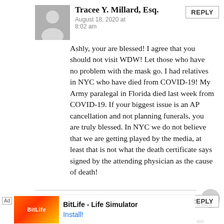Tracee Y. Millard, Esq.
August 18, 2020 at 8:02 am
Ashly, your are blessed! I agree that you should not visit WDW! Let those who have no problem with the mask go. I had relatives in NYC who have died from COVID-19! My Army paralegal in Florida died last week from COVID-19. If your biggest issue is an AP cancellation and not planning funerals, you are truly blessed. In NYC we do not believe that we are getting played by the media, at least that is not what the death certificate says signed by the attending physician as the cause of death!
Bonnie
August 17, 2020 at 6:15 am
[Figure (screenshot): BitLife - Life Simulator advertisement banner at the bottom of the page with colorful app icon and Install! link]